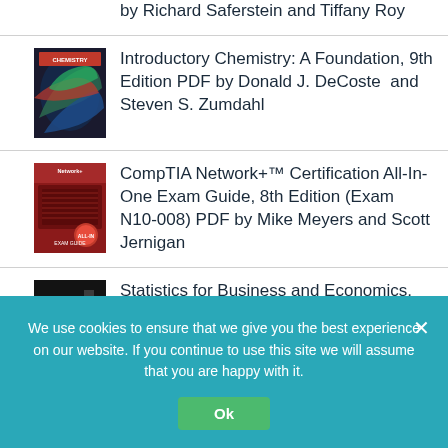by Richard Saferstein and Tiffany Roy
Introductory Chemistry: A Foundation, 9th Edition PDF by Donald J. DeCoste  and  Steven S. Zumdahl
CompTIA Network+™ Certification All-In-One Exam Guide, 8th Edition (Exam N10-008) PDF by Mike Meyers and Scott Jernigan
Statistics for Business and Economics, 14th Edition PDF by
We use cookies to ensure that we give you the best experience on our website. If you continue to use this site we will assume that you are happy with it.
Ok